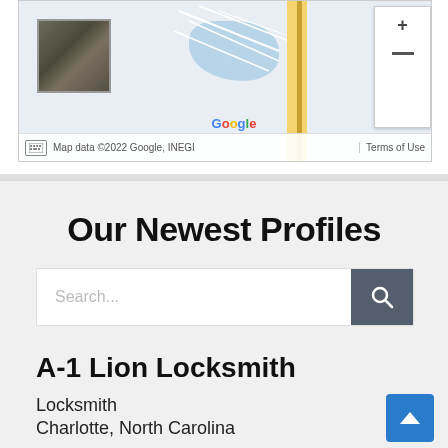[Figure (map): Google Maps embed showing a coastal area with a yellow road, water body, and map controls. Bottom bar shows 'Map data ©2022 Google, INEGI' and 'Terms of Use'. A satellite thumbnail is shown in the upper left corner.]
Our Newest Profiles
Search...
A-1 Lion Locksmith
Locksmith
Charlotte, North Carolina
Providing Quality Service 24/7